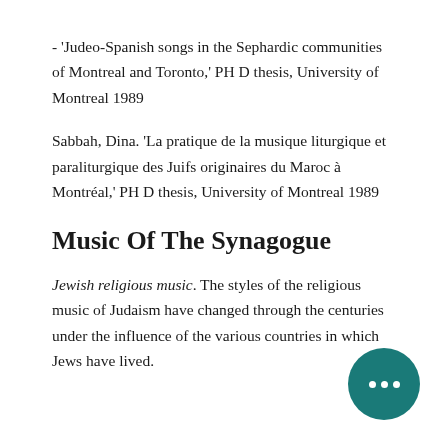- 'Judeo-Spanish songs in the Sephardic communities of Montreal and Toronto,' PH D thesis, University of Montreal 1989
Sabbah, Dina. 'La pratique de la musique liturgique et paraliturgique des Juifs originaires du Maroc à Montréal,' PH D thesis, University of Montreal 1989
Music Of The Synagogue
Jewish religious music. The styles of the religious music of Judaism have changed through the centuries under the influence of the various countries in which Jews have lived.